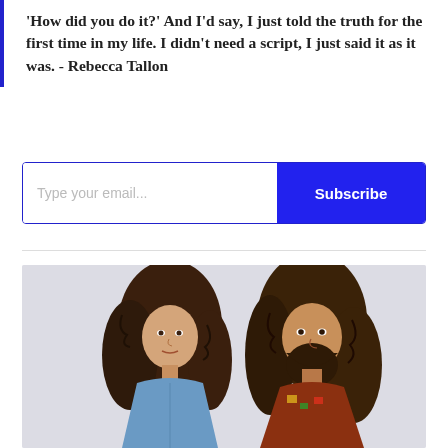'How did you do it?' And I'd say, I just told the truth for the first time in my life. I didn't need a script, I just said it as it was. - Rebecca Tallon
[Figure (other): Email subscription widget with text input field showing placeholder 'Type your email...' and a blue Subscribe button]
[Figure (photo): Photograph of two people with long curly hair against a light grey background. On the left is a woman wearing a blue denim jacket. On the right is a man with a long beard wearing a colorful patterned top.]